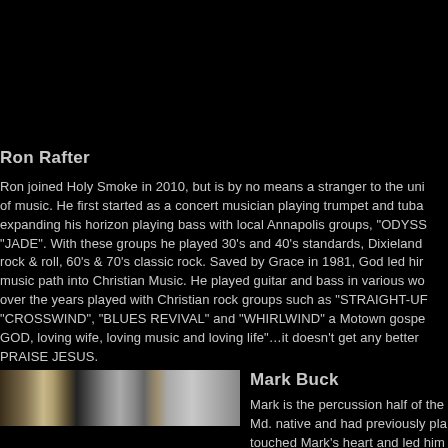Ron Rafter
Ron joined Holy Smoke in 2010, but is by no means a stranger to the universe of music. He first started as a concert musician playing trumpet and tuba, then expanding his horizon playing bass with local Annapolis groups, "ODYSSEY" and "JADE". With these groups he played 30's and 40's standards, Dixieland jazz, rock & roll, 60's & 70's classic rock. Saved by Grace in 1981, God led him on a music path into Christian Music. He played guitar and bass in various worship bands, over the years played with Christian rock groups such as "STRAIGHT-UP", "CROSSWIND", "BLUES REVIVAL" and "WHIRLWIND" a Motown gospel group. "loving GOD, loving wife, loving music and loving life"...it doesn't get any better than this. PRAISE JESUS.
[Figure (photo): Partial photo of musicians, cropped, showing two figures in light tones against a light/grey background]
Mark Buck
Mark is the percussion half of the... Md. native and had previously pla... touched Mark's heart and led him...